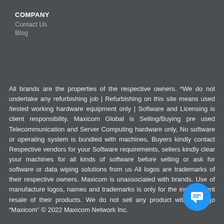COMPANY
Contact Us
Blog
All brands are the properties of the respective owners. *We do not undertake any refurbishing job | Refurbishing on this site means used /tested working hardware equipment only | Software and Licensing is client responsibility. Maxicom Global is Selling/Buying pre used Telecommunication and Server Computing hardware only, No software or operating system is bundled with machines, Buyers kindly contact Respective vendors for your Software requirements, sellers kindly clear your machines for all kinds of software before selling or ask for software or data wiping solutions from us All logos are trademarks of their respective owners. Maxicom is unassociated with brands. Use of manufacture logos, names and trademarks is only for the independent resale of their products. We do not sell any product with the logo “Maxicom” © 2022 Maxicom Network Inc.
[Figure (illustration): Blue circular chat button with message/chat icon in white]